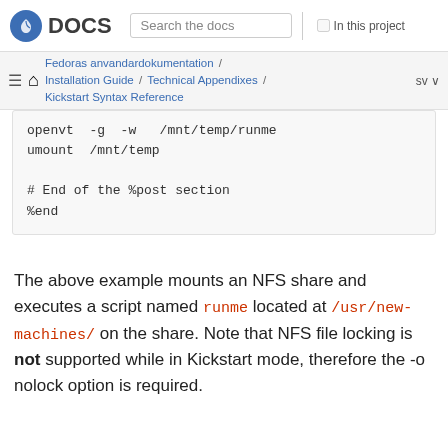DOCS | Search the docs | In this project
Fedoras anvandardokumentation / Installation Guide / Technical Appendixes / Kickstart Syntax Reference | sv
openvt -g -w /mnt/temp/runme
umount /mnt/temp

# End of the %post section
%end
The above example mounts an NFS share and executes a script named runme located at /usr/new-machines/ on the share. Note that NFS file locking is not supported while in Kickstart mode, therefore the -o nolock option is required.